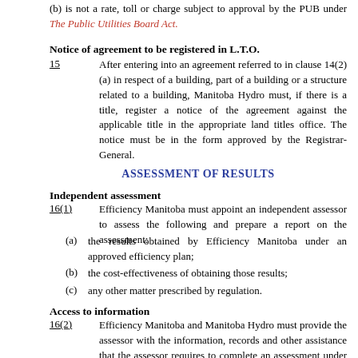(b) is not a rate, toll or charge subject to approval by the PUB under The Public Utilities Board Act.
Notice of agreement to be registered in L.T.O.
15   After entering into an agreement referred to in clause 14(2)(a) in respect of a building, part of a building or a structure related to a building, Manitoba Hydro must, if there is a title, register a notice of the agreement against the applicable title in the appropriate land titles office. The notice must be in the form approved by the Registrar-General.
ASSESSMENT OF RESULTS
Independent assessment
16(1)   Efficiency Manitoba must appoint an independent assessor to assess the following and prepare a report on the assessment:
(a) the results obtained by Efficiency Manitoba under an approved efficiency plan;
(b) the cost-effectiveness of obtaining those results;
(c) any other matter prescribed by regulation.
Access to information
16(2)   Efficiency Manitoba and Manitoba Hydro must provide the assessor with the information, records and other assistance that the assessor requires to complete an assessment under this section.